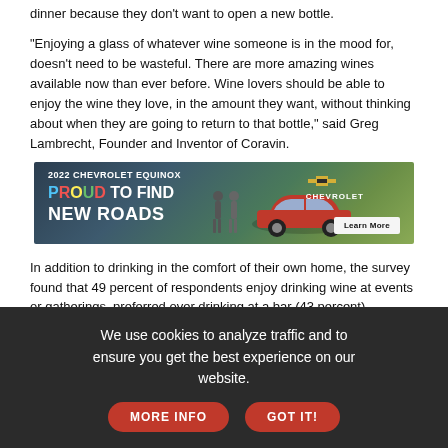dinner because they don't want to open a new bottle.
"Enjoying a glass of whatever wine someone is in the mood for, doesn't need to be wasteful. There are more amazing wines available now than ever before. Wine lovers should be able to enjoy the wine they love, in the amount they want, without thinking about when they are going to return to that bottle," said Greg Lambrecht, Founder and Inventor of Coravin.
[Figure (photo): 2022 Chevrolet Equinox advertisement banner. Text reads: '2022 CHEVROLET EQUINOX', 'PROUD TO FIND NEW ROADS'. Shows a red SUV with people standing nearby in a forest setting. Chevrolet logo and 'Learn More' button on the right.]
In addition to drinking in the comfort of their own home, the survey found that 49 percent of respondents enjoy drinking wine at events or gatherings, preferred over drinking at a bar (43 percent).
While at an event, three-quarters will drink what everyone else is drinking, even if they'd prefer something else.
And often they time someone asked to submit to the wine...
We use cookies to analyze traffic and to ensure you get the best experience on our website.
MORE INFO
GOT IT!